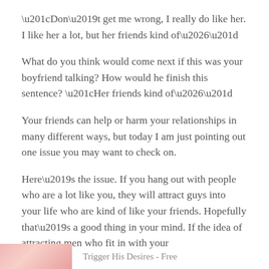“Don’t get me wrong, I really do like her. I like her a lot, but her friends kind of…”
What do you think would come next if this was your boyfriend talking? How would he finish this sentence? “Her friends kind of…”
Your friends can help or harm your relationships in many different ways, but today I am just pointing out one issue you may want to check on.
Here’s the issue. If you hang out with people who are a lot like you, they will attract guys into your life who are kind of like your friends. Hopefully that’s a good thing in your mind. If the idea of attracting men who fit in with your
Trigger His Desires - Free